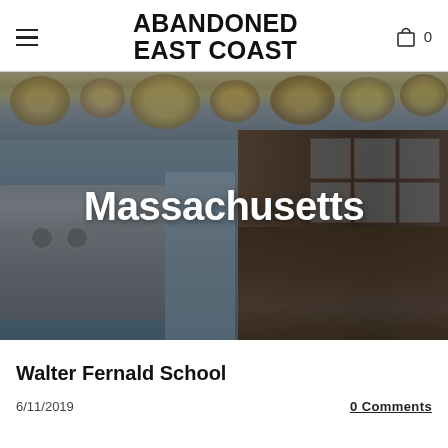ABANDONED EAST COAST
[Figure (photo): Abandoned building interior with peeling paint on upper wall decorations, dark wood cabinets with glass panels on the right, and old appliances on the left. Overlaid with large white bold text 'Massachusetts'.]
Walter Fernald School
6/11/2019
0 Comments